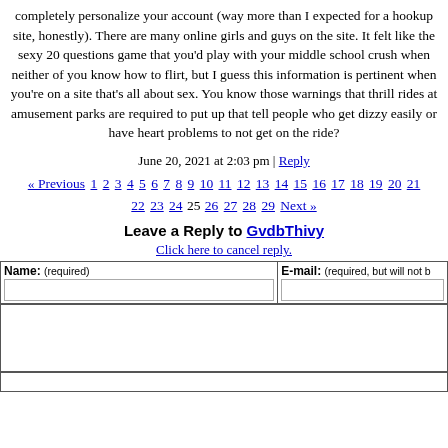completely personalize your account (way more than I expected for a hookup site, honestly). There are many online girls and guys on the site. It felt like the sexy 20 questions game that you'd play with your middle school crush when neither of you know how to flirt, but I guess this information is pertinent when you're on a site that's all about sex. You know those warnings that thrill rides at amusement parks are required to put up that tell people who get dizzy easily or have heart problems to not get on the ride?
June 20, 2021 at 2:03 pm | Reply
« Previous 1 2 3 4 5 6 7 8 9 10 11 12 13 14 15 16 17 18 19 20 21 22 23 24 25 26 27 28 29 Next »
Leave a Reply to GvdbThivy
Click here to cancel reply.
| Name: (required) | E-mail: (required, but will not be published) |
| --- | --- |
|  |  |